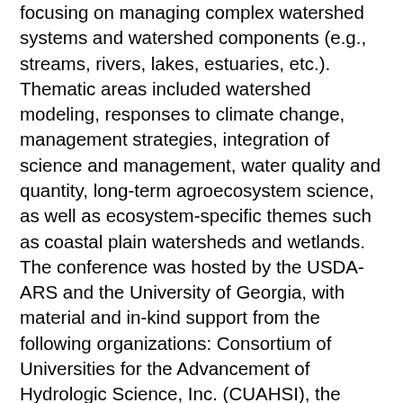focusing on managing complex watershed systems and watershed components (e.g., streams, rivers, lakes, estuaries, etc.). Thematic areas included watershed modeling, responses to climate change, management strategies, integration of science and management, water quality and quantity, long-term agroecosystem science, as well as ecosystem-specific themes such as coastal plain watersheds and wetlands. The conference was hosted by the USDA-ARS and the University of Georgia, with material and in-kind support from the following organizations: Consortium of Universities for the Advancement of Hydrologic Science, Inc. (CUAHSI), the USDA Forest Service, the U.S. Geological Survey, the U.S. Bureau of Land Management, the U.S. Fish and Wildlife Service, the U.S. Environmental Protection Agency, NASA, and the U.S. Department of Energy. The 7th ICRW was built on the foundation laid by the previous hosting organizations: USDA Agricultural Research Service (2003), USDA Forest Service (2006 and 2015), U.S.